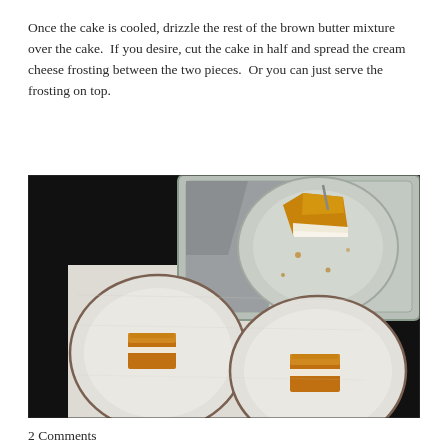Once the cake is cooled, drizzle the rest of the brown butter mixture over the cake.  If you desire, cut the cake in half and spread the cream cheese frosting between the two pieces.  Or you can just serve the frosting on top.
[Figure (photo): Overhead shot of cake slices served on speckled white ceramic plates with brown rims, and a larger plate in a distressed metal tray with a grey linen napkin, all on white parchment paper against a dark background.]
2 Comments